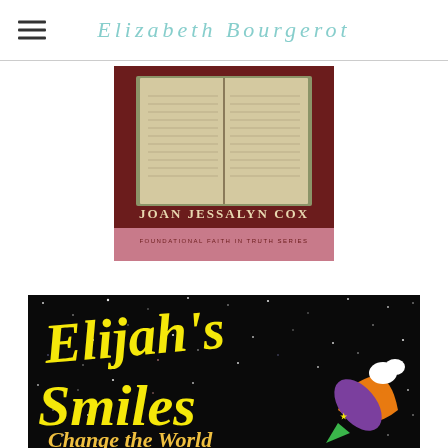Elizabeth Bourgerot
[Figure (photo): Book cover: Joan Jessalyn Cox, Foundational Faith in Truth Series, showing an open Bible on a dark red background]
[Figure (illustration): Book cover: Elijah's Smiles Change the World, yellow handwritten-style title text on a dark starry background with a colorful cartoon rocket and moon]